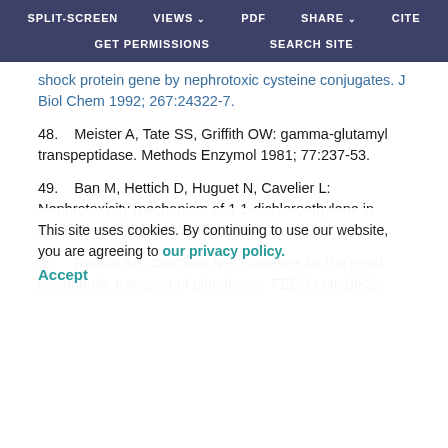SPLIT-SCREEN  VIEWS  PDF  SHARE  CITE  GET PERMISSIONS  SEARCH SITE
shock protein gene by nephrotoxic cysteine conjugates. J Biol Chem 1992; 267:24322-7.
48.   Meister A, Tate SS, Griffith OW: gamma-glutamyl transpeptidase. Methods Enzymol 1981; 77:237-53.
49.   Ban M, Hettich D, Huguet N, Cavelier L: Nephrotoxicity mechanism of 1,1-dichloroethylene in mice. Toxicol Lett 1995; 78:87-92.
50.   Rankin BB, Curthoys NP: Evidence for the renal paratubular transport of glutathione. FEBS Lett 1982; 147:193-6.
51.  Capraro MA, Hughey RP: Use of avidin in the determination of rate constants for turnover of rat renal gamma-glutamyltranspeptidase. J Biol Chem
This site uses cookies. By continuing to use our website, you are agreeing to our privacy policy. Accept